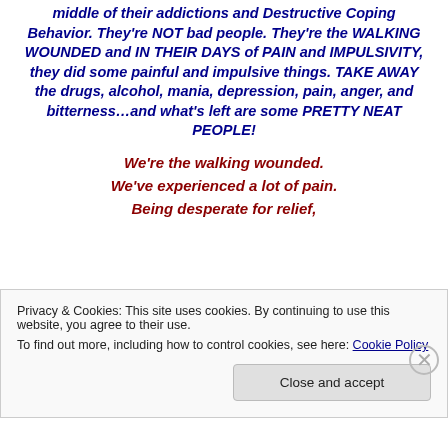middle of their addictions and Destructive Coping Behavior.  They're NOT bad people.  They're the WALKING WOUNDED and IN THEIR DAYS of PAIN and IMPULSIVITY, they did some painful and impulsive things.  TAKE AWAY the drugs, alcohol, mania, depression, pain, anger, and bitterness…and what's left are some PRETTY NEAT PEOPLE!
We're the walking wounded. We've experienced a lot of pain. Being desperate for relief,
Privacy & Cookies: This site uses cookies. By continuing to use this website, you agree to their use. To find out more, including how to control cookies, see here: Cookie Policy
Close and accept